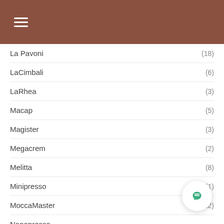Navigation menu header bar
La Pavoni (18)
LaCimbali (6)
LaRhea (3)
Macap (5)
Magister (3)
Megacrem (2)
Melitta (8)
Minipresso (1)
MoccaMaster (22)
Nanopresso
Necta
Niche (1)